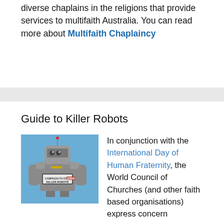diverse chaplains in the religions that provide services to multifaith Australia. You can read more about Multifaith Chaplaincy
Guide to Killer Robots
[Figure (photo): A metallic robot costume/sculpture with a 'Campaign to Stop Killer Robots' sign on its chest, photographed against a blue sky.]
In conjunction with the International Day of Human Fraternity, the World Council of Churches (and other faith based organisations) express concern